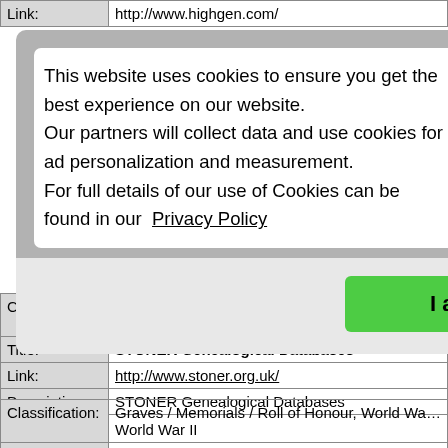| Link: | http://www.highgen.com/ |
[Figure (screenshot): Cookie consent popup overlay with text: 'This website uses cookies to ensure you get the best experience on our website. Our partners will collect data and use cookies for ad personalization and measurement. For full details of our use of Cookies can be found in our Privacy Policy' and a green 'I accept' button.]
| Classification: | Graves / Memorials / Roll of Honour, World War I, World War II |
| Title: | STONER Genealogical Databases |
| Link: | http://www.stoner.org.uk/ |
| Description: | STONER Genealogical Databases |
| Classification: | Graves / Memorials / Roll of Honour, World War I, World War II |
| Title: | STRANGE, STRAINGE and Variants One Name Study |